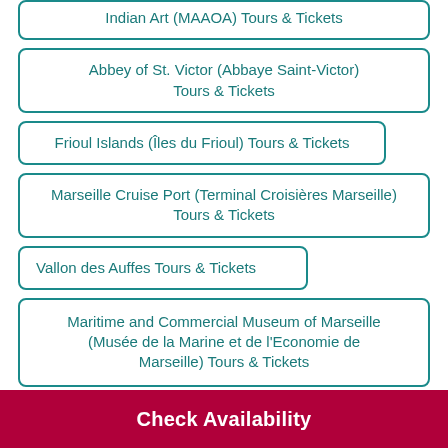Indian Art (MAAOA) Tours & Tickets
Abbey of St. Victor (Abbaye Saint-Victor) Tours & Tickets
Frioul Islands (Îles du Frioul) Tours & Tickets
Marseille Cruise Port (Terminal Croisières Marseille) Tours & Tickets
Vallon des Auffes Tours & Tickets
Maritime and Commercial Museum of Marseille (Musée de la Marine et de l'Economie de Marseille) Tours & Tickets
Check Availability